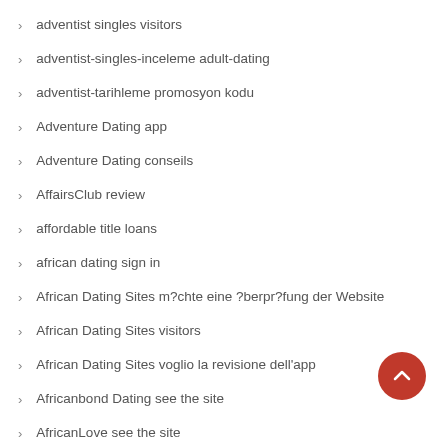adventist singles visitors
adventist-singles-inceleme adult-dating
adventist-tarihleme promosyon kodu
Adventure Dating app
Adventure Dating conseils
AffairsClub review
affordable title loans
african dating sign in
African Dating Sites m?chte eine ?berpr?fung der Website
African Dating Sites visitors
African Dating Sites voglio la revisione dell'app
Africanbond Dating see the site
AfricanLove see the site
AfriFlirt review
AfriFlirt see the site